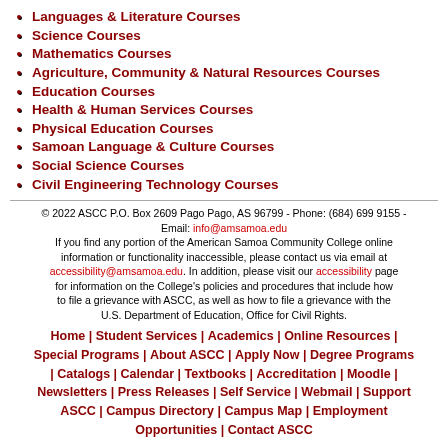Languages & Literature Courses
Science Courses
Mathematics Courses
Agriculture, Community & Natural Resources Courses
Education Courses
Health & Human Services Courses
Physical Education Courses
Samoan Language & Culture Courses
Social Science Courses
Civil Engineering Technology Courses
© 2022 ASCC P.O. Box 2609 Pago Pago, AS 96799 - Phone: (684) 699 9155 - Email: info@amsamoa.edu If you find any portion of the American Samoa Community College online information or functionality inaccessible, please contact us via email at accessibility@amsamoa.edu. In addition, please visit our accessibility page for information on the College's policies and procedures that include how to file a grievance with ASCC, as well as how to file a grievance with the U.S. Department of Education, Office for Civil Rights.
Home | Student Services | Academics | Online Resources | Special Programs | About ASCC | Apply Now | Degree Programs | Catalogs | Calendar | Textbooks | Accreditation | Moodle | Newsletters | Press Releases | Self Service | Webmail | Support ASCC | Campus Directory | Campus Map | Employment Opportunities | Contact ASCC